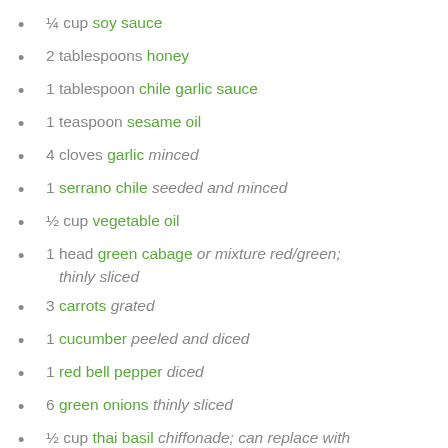¼ cup soy sauce
2 tablespoons honey
1 tablespoon chile garlic sauce
1 teaspoon sesame oil
4 cloves garlic minced
1 serrano chile seeded and minced
½ cup vegetable oil
1 head green cabage or mixture red/green; thinly sliced
3 carrots grated
1 cucumber peeled and diced
1 red bell pepper diced
6 green onions thinly sliced
½ cup thai basil chiffonade; can replace with cilantro